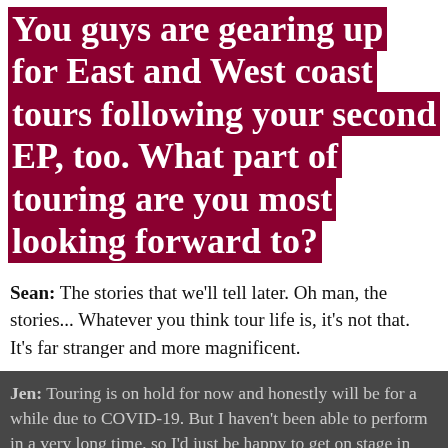You guys are gearing up for East and West coast tours following your second EP, too. What part of touring are you most looking forward to?
Sean: The stories that we'll tell later. Oh man, the stories... Whatever you think tour life is, it's not that. It's far stranger and more magnificent.
Jen: Touring is on hold for now and honestly will be for a while due to COVID-19. But I haven't been able to perform in a very long time, so I'd just be happy to get on stage in general.
Privacy Preferences | I Agree